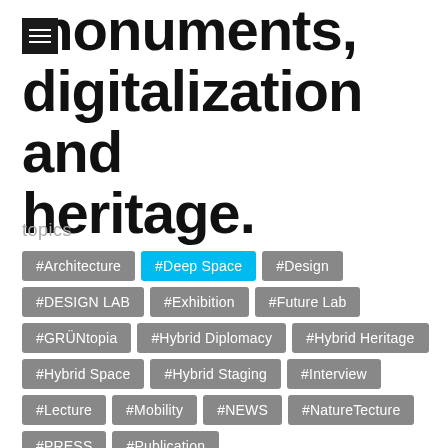monuments, digitalization and heritage.
topics
#Architecture
#Deep Space
#Design
#DESIGN LAB
#Exhibition
#Future Lab
#GRÜNtopia
#Hybrid Diplomacy
#Hybrid Heritage
#Hybrid Space
#Hybrid Staging
#Interview
#Lecture
#Mobility
#NEWS
#NatureTecture
#PRESS
#Publication